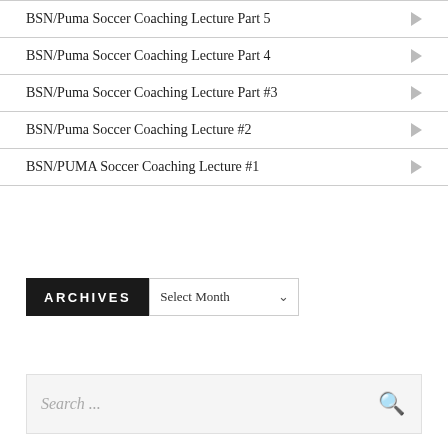BSN/Puma Soccer Coaching Lecture Part 5
BSN/Puma Soccer Coaching Lecture Part 4
BSN/Puma Soccer Coaching Lecture Part #3
BSN/Puma Soccer Coaching Lecture #2
BSN/PUMA Soccer Coaching Lecture #1
ARCHIVES
Select Month
Search ...